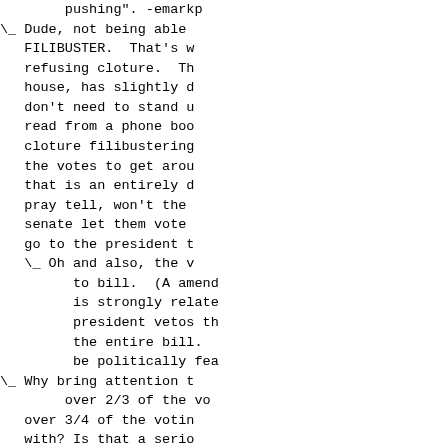pushing". -emarkp
\_  Dude, not being able to FILIBUSTER.  That's w refusing cloture.  Th house, has slightly d don't need to stand u read from a phone boo cloture filibustering the votes to get arou that is an entirely d pray tell, won't the senate let them vote go to the president t
    \_ Oh and also, the v to bill.  (A amend is strongly relate president vetos th the entire bill.   be politically fea
\_  Why bring attention t over 2/3 of the vo over 3/4 of the votin with? Is that a serio
\_  Overriding the veto h it.  Nice dodge, thou
    \_ Why does it have n It's legislation t veto, and he's pro something like thi with the last appr